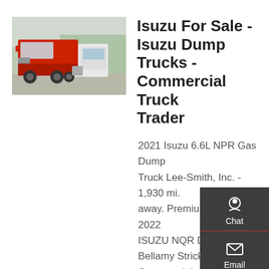[Figure (photo): Red Isuzu commercial truck (cab-over style) parked outdoors with other vehicles in background]
Isuzu For Sale - Isuzu Dump Trucks - Commercial Truck Trader
2021 Isuzu 6.6L NPR Gas Dump Truck Lee-Smith, Inc. - 1,930 mi. away. Premium. $73,500. 2022 ISUZU NQR Dump Truck Bellamy Strickland Commercial Truck Sales - 2,054 mi. away. Premium. $73,995 20 miles. 2022 ISUZU NRR Dump Truck, Landscape Truck, Contractor Truck Isuzu Truck Of Lehigh Valley -